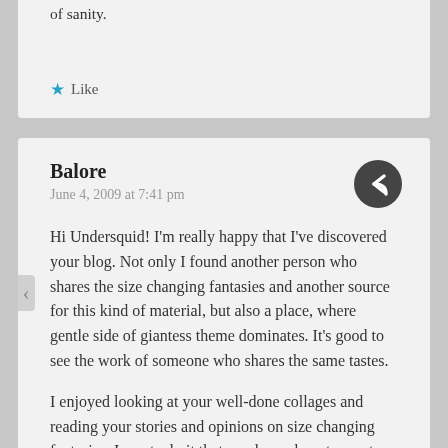of sanity.
Like
Balore
June 4, 2009 at 7:41 pm
Hi Undersquid! I'm really happy that I've discovered your blog. Not only I found another person who shares the size changing fantasies and another source for this kind of material, but also a place, where gentle side of giantess theme dominates. It's good to see the work of someone who shares the same tastes.
I enjoyed looking at your well-done collages and reading your stories and opinions on size changing fantasies. I must admit that you know how to create a good giantess climate in a clever and intelligent way. Your works aren't only